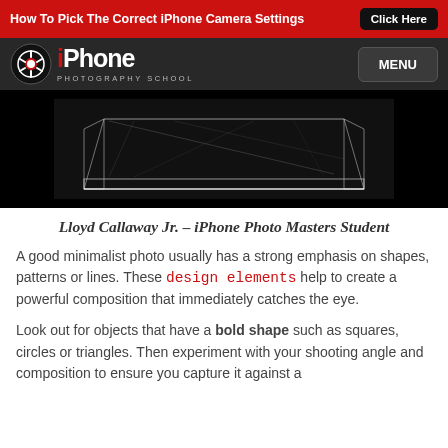How To Pick The Correct iPhone Camera Settings  Click Here
iPhone Photography School  MENU
[Figure (photo): A clear acrylic/glass box or frame photographed on a black background, showing geometric lines and reflections — a minimalist composition example.]
Lloyd Callaway Jr. – iPhone Photo Masters Student
A good minimalist photo usually has a strong emphasis on shapes, patterns or lines. These design elements help to create a powerful composition that immediately catches the eye.
Look out for objects that have a bold shape such as squares, circles or triangles. Then experiment with your shooting angle and composition to ensure you capture it against a